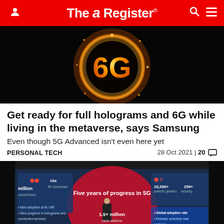The Register
[Figure (photo): Dark background with glowing orange 6G logo in a circle of fire/light]
Get ready for full holograms and 6G while living in the metaverse, says Samsung
Even though 5G Advanced isn't even here yet
PERSONAL TECH    28 Oct 2021 | 20 💬
[Figure (photo): Samsung presentation slide showing 'Five years of progress in 5G' with statistics and a presenter on stage]